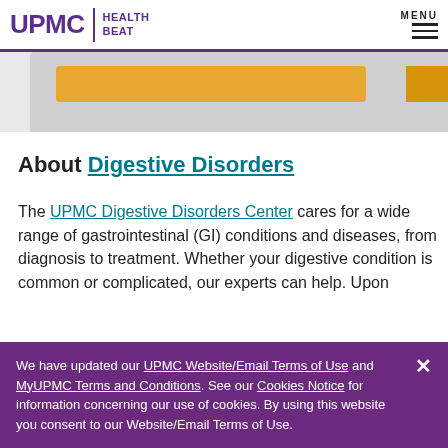UPMC | HEALTH BEAT   MENU
[Figure (other): Partial image with orange/yellow button bar and gray background]
About Digestive Disorders
The UPMC Digestive Disorders Center cares for a wide range of gastrointestinal (GI) conditions and diseases, from diagnosis to treatment. Whether your digestive condition is common or complicated, our experts can help. Upon
We have updated our UPMC Website/Email Terms of Use and MyUPMC Terms and Conditions. See our Cookies Notice for information concerning our use of cookies. By using this website you consent to our Website/Email Terms of Use.